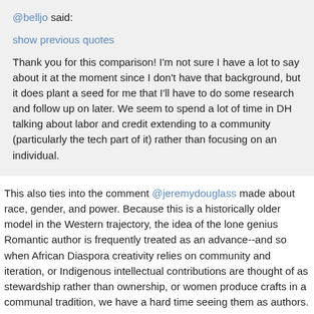@belljo said:
show previous quotes
Thank you for this comparison! I'm not sure I have a lot to say about it at the moment since I don't have that background, but it does plant a seed for me that I'll have to do some research and follow up on later. We seem to spend a lot of time in DH talking about labor and credit extending to a community (particularly the tech part of it) rather than focusing on an individual.
This also ties into the comment @jeremydouglass made about race, gender, and power. Because this is a historically older model in the Western trajectory, the idea of the lone genius Romantic author is frequently treated as an advance--and so when African Diaspora creativity relies on community and iteration, or Indigenous intellectual contributions are thought of as stewardship rather than ownership, or women produce crafts in a communal tradition, we have a hard time seeing them as authors.
This then sets up a tension between credit in a way that is legible within a Western-masculinist model and credit in the terms valued by the people